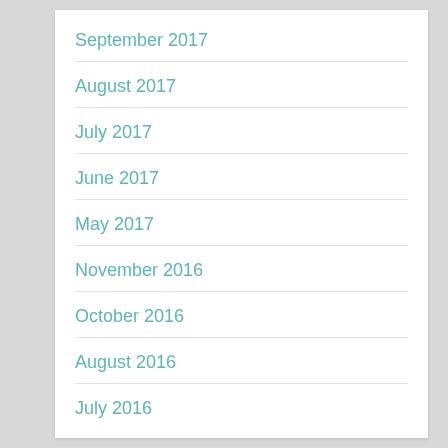September 2017
August 2017
July 2017
June 2017
May 2017
November 2016
October 2016
August 2016
July 2016